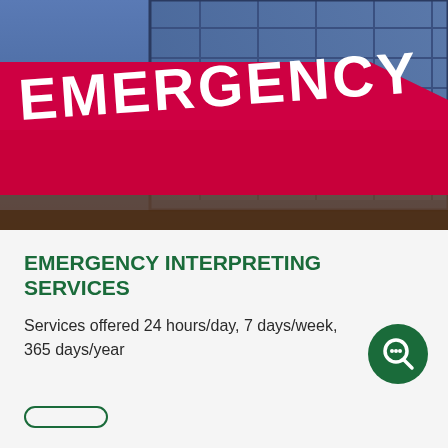[Figure (photo): Photograph of a hospital emergency department exterior sign reading 'EMERGENCY' in large white letters on a red background, with a glass office building visible behind it in the evening/dusk light.]
EMERGENCY INTERPRETING SERVICES
Services offered 24 hours/day, 7 days/week, 365 days/year